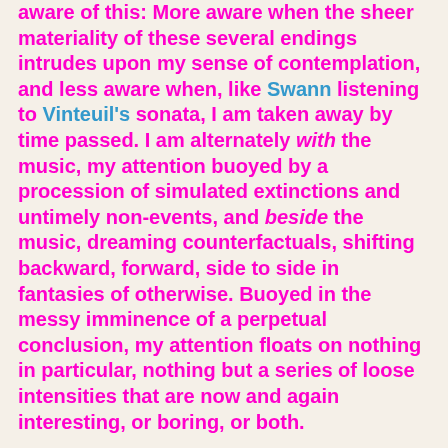aware of this: More aware when the sheer materiality of these several endings intrudes upon my sense of contemplation, and less aware when, like Swann listening to Vinteuil's sonata, I am taken away by time passed. I am alternately with the music, my attention buoyed by a procession of simulated extinctions and untimely non-events, and beside the music, dreaming counterfactuals, shifting backward, forward, side to side in fantasies of otherwise. Buoyed in the messy imminence of a perpetual conclusion, my attention floats on nothing in particular, nothing but a series of loose intensities that are now and again interesting, or boring, or both.
Priest provides a pdf score of the first dozen cadences of this piece together with an mp3 of the same.  Here's the first system of the score (click to enlarge):